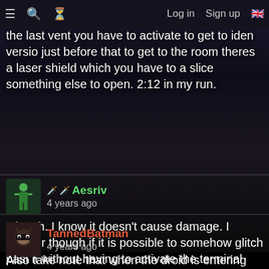≡  🔍  ⏱  Log in   Sign up  🇬🇧
the last vent you have to activate to get to iden versio just before that to get to the room theres a laser shield which you have to a slice something else to open. 2:12 in my run.
🗡️ 🗡️ Aesriv
4 years ago
Oh yah. I know it doesn't cause damage. I wonder though if it is possible to somehow glitch past it without having to activate the terminal that disables it.
TannedBatman
4 years ago
Also take note that when the droid is entering the vents it doesn't take damage. This helps when going under the door.